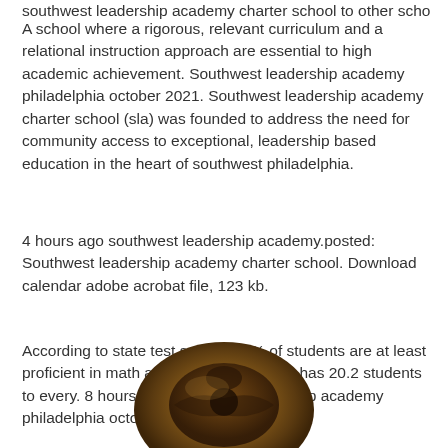southwest leadership academy charter school to other schools.
A school where a rigorous, relevant curriculum and a relational instruction approach are essential to high academic achievement. Southwest leadership academy philadelphia october 2021. Southwest leadership academy charter school (sla) was founded to address the need for community access to exceptional, leadership based education in the heart of southwest philadelphia.
4 hours ago southwest leadership academy.posted: Southwest leadership academy charter school. Download calendar adobe acrobat file, 123 kb.
According to state test scores, 13% of students are at least proficient in math and 26% in reading. It has 20.2 students to every. 8 hours ago southwest leadership academy philadelphia october 2021.
[Figure (photo): A dark brown metallic or leather object, possibly a badge or medallion, with an embossed emblem, photographed against a white background.]